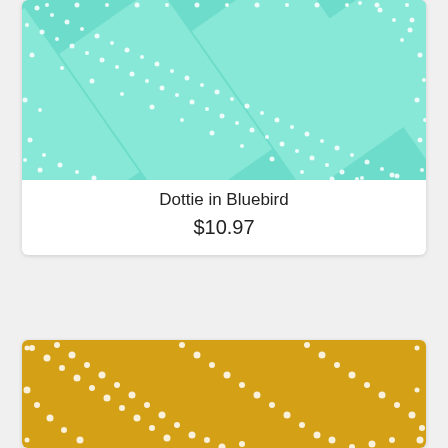[Figure (photo): Teal/mint fabric with diagonal dotted stripe pattern — Dottie in Bluebird]
Dottie in Bluebird
$10.97
[Figure (photo): Golden yellow fabric with diagonal dotted stripe pattern]